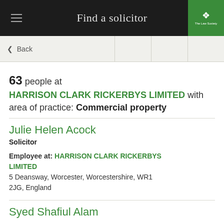Find a solicitor
< Back
63 people at HARRISON CLARK RICKERBYS LIMITED with area of practice: Commercial property
Julie Helen Acock
Solicitor
Employee at: HARRISON CLARK RICKERBYS LIMITED
5 Deansway, Worcester, Worcestershire, WR1 2JG, England
Syed Shafiul Alam